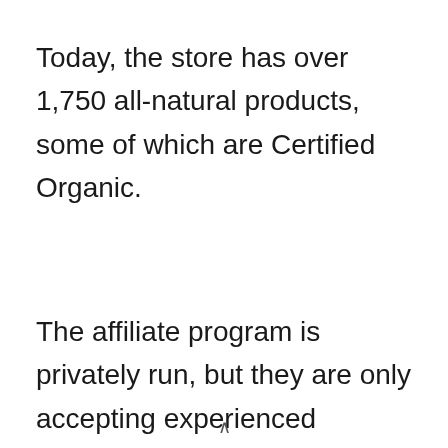Today, the store has over 1,750 all-natural products, some of which are Certified Organic.
The affiliate program is privately run, but they are only accepting experienced